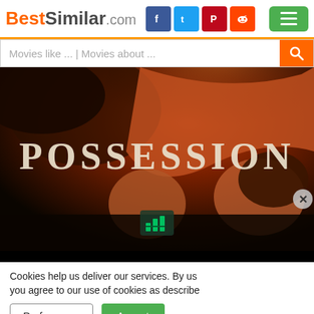BestSimilar.com
Movies like ... | Movies about ...
[Figure (photo): Movie poster for 'Possession' showing two people with the title text overlaid on a dark cinematic background]
Cookies help us deliver our services. By us you agree to our use of cookies as describe
Preferences   Accept